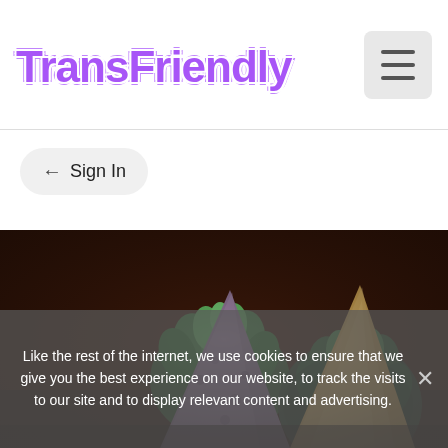TransFriendly
Sign In
[Figure (photo): Food photo showing wedges of cheese and artichokes on a dark wooden surface with dark brown background]
Like the rest of the internet, we use cookies to ensure that we give you the best experience on our website, to track the visits to our site and to display relevant content and advertising.